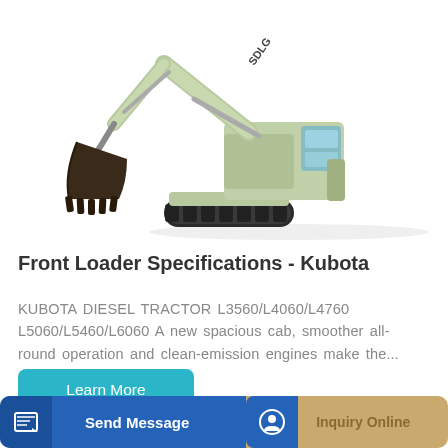[Figure (photo): SDLG branded excavator with green body, black bucket arm extended to the left, crawler tracks, on white background]
Front Loader Specifications - Kubota
KUBOTA DIESEL TRACTOR L3560/L4060/L4760 L5060/L5460/L6060 A new spacious cab, smoother all-round operation and clean-emission engines make the...
Learn More
Send Message
Inquiry Online